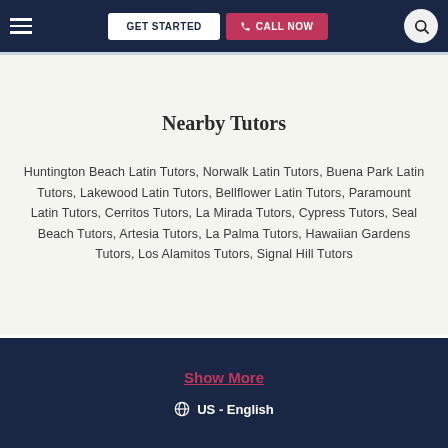GET STARTED | CALL NOW
Nearby Tutors
Huntington Beach Latin Tutors, Norwalk Latin Tutors, Buena Park Latin Tutors, Lakewood Latin Tutors, Bellflower Latin Tutors, Paramount Latin Tutors, Cerritos Tutors, La Mirada Tutors, Cypress Tutors, Seal Beach Tutors, Artesia Tutors, La Palma Tutors, Hawaiian Gardens Tutors, Los Alamitos Tutors, Signal Hill Tutors
Show More | US - English